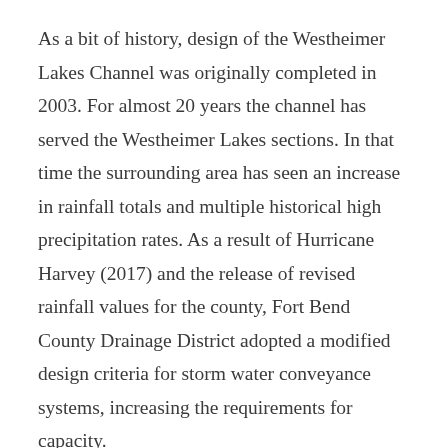As a bit of history, design of the Westheimer Lakes Channel was originally completed in 2003. For almost 20 years the channel has served the Westheimer Lakes sections. In that time the surrounding area has seen an increase in rainfall totals and multiple historical high precipitation rates. As a result of Hurricane Harvey (2017) and the release of revised rainfall values for the county, Fort Bend County Drainage District adopted a modified design criteria for storm water conveyance systems, increasing the requirements for capacity.
The Board has authorized an engineering project to provide improvements to the Westheimer Lakes Channel and downstream improvements to Andrus Creek. The purpose of this analysis and design is to provide a solution which lowers the 100-year storm water surface elevation